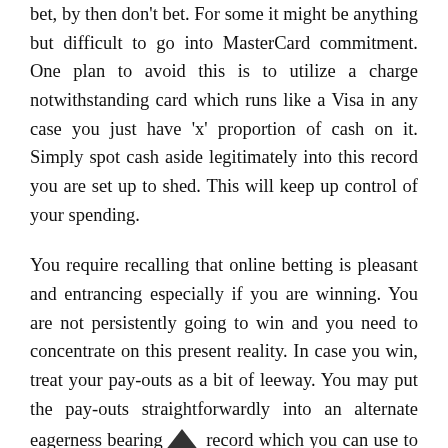bet, by then don't bet. For some it might be anything but difficult to go into MasterCard commitment. One plan to avoid this is to utilize a charge notwithstanding card which runs like a Visa in any case you just have 'x' proportion of cash on it. Simply spot cash aside legitimately into this record you are set up to shed. This will keep up control of your spending.
You require recalling that online betting is pleasant and entrancing especially if you are winning. You are not persistently going to win and you need to concentrate on this present reality. In case you win, treat your pay-outs as a bit of leeway. You may put the pay-outs straightforwardly into an alternate eagerness bearing record which you can use to buy things you like bits of garments, venture assets for an excursion, mechanical assemblies for a side intrigue, sports instruments, and so